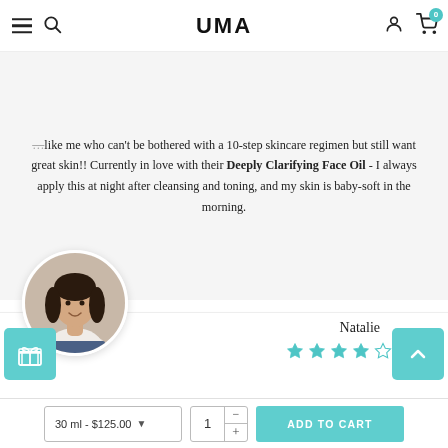UMA — navigation bar with hamburger menu, search, logo, account, and cart (0 items)
like me who can't be bothered with a 10-step skincare regimen but still want great skin!! Currently in love with their Deeply Clarifying Face Oil - I always apply this at night after cleansing and toning, and my skin is baby-soft in the morning.
[Figure (photo): Circular avatar photo of a woman with dark hair, smiling, wearing a white tank top]
Natalie
[Figure (other): 4 out of 5 stars rating displayed in teal/turquoise star icons]
Page footer with product variant selector (30 ml - $125.00), quantity selector (1), and ADD TO CART button